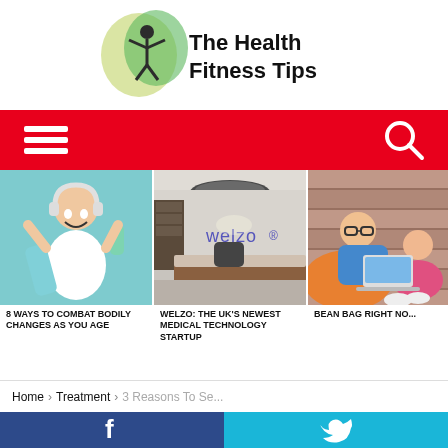The Health Fitness Tips
[Figure (screenshot): Red navigation bar with hamburger menu icon on left and search icon on right]
[Figure (photo): Man in white t-shirt celebrating with headphones and a water bottle on teal background]
8 WAYS TO COMBAT BODILY CHANGES AS YOU AGE
[Figure (photo): Modern office reception area with 'welzo' branding on the wall]
WELZO: THE UK'S NEWEST MEDICAL TECHNOLOGY STARTUP
[Figure (photo): Two people sitting on bean bags with a laptop, partially cropped]
BEAN BAG RIGHT NO...
Home › Treatment › 3 Reasons To Se...
[Figure (infographic): Social share bar with Facebook (dark blue) and Twitter (cyan) buttons]